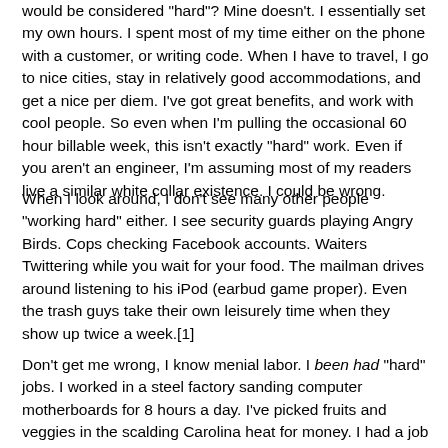would be considered "hard"? Mine doesn't. I essentially set my own hours. I spent most of my time either on the phone with a customer, or writing code. When I have to travel, I go to nice cities, stay in relatively good accommodations, and get a nice per diem. I've got great benefits, and work with cool people. So even when I'm pulling the occasional 60 hour billable week, this isn't exactly "hard" work. Even if you aren't an engineer, I'm assuming most of my readers live a similar white collar existence. I could be wrong.
When I look around, I don't see many other people "working hard" either. I see security guards playing Angry Birds. Cops checking Facebook accounts. Waiters Twittering while you wait for your food. The mailman drives around listening to his iPod (earbud game proper). Even the trash guys take their own leisurely time when they show up twice a week.[1]
Don't get me wrong, I know menial labor. I been had "hard" jobs. I worked in a steel factory sanding computer motherboards for 8 hours a day. I've picked fruits and veggies in the scalding Carolina heat for money. I had a job at a grocery store whose responsibilities regularly entailed